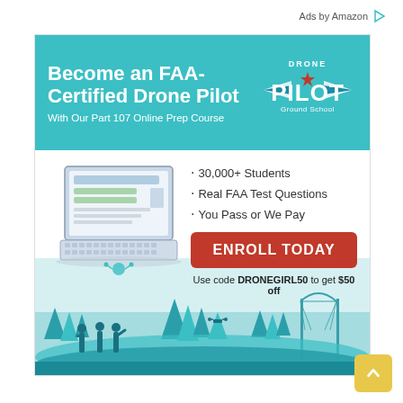Ads by Amazon
[Figure (illustration): Advertisement banner for Drone Pilot Ground School. Teal header reads 'Become an FAA-Certified Drone Pilot - With Our Part 107 Online Prep Course' with Drone Pilot Ground School logo. Below: laptop illustration on left, bullet points '30,000+ Students', 'Real FAA Test Questions', 'You Pass or We Pay', red 'ENROLL TODAY' button, discount code text. Background shows teal cityscape silhouette with trees and bridge, and silhouettes of people.]
Use code DRONEGIRL50 to get $50 off